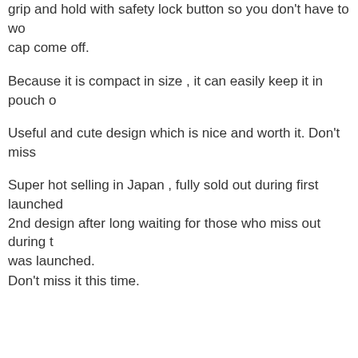grip and hold with safety lock button so you don't have to wo cap come off.
Because it is compact in size , it can easily keep it in pouch o
Useful and cute design which is nice and worth it. Don't miss
Super hot selling in Japan , fully sold out during first launched 2nd design after long waiting for those who miss out during t was launched.
Don't miss it this time.